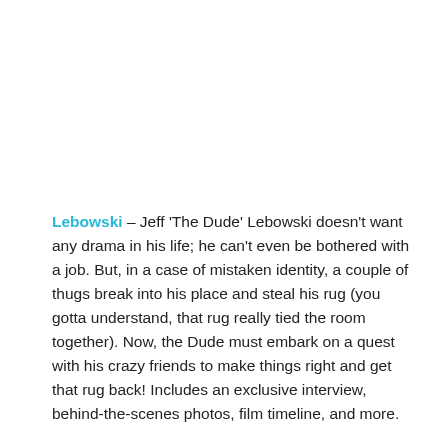Lebowski – Jeff 'The Dude' Lebowski doesn't want any drama in his life; he can't even be bothered with a job. But, in a case of mistaken identity, a couple of thugs break into his place and steal his rug (you gotta understand, that rug really tied the room together). Now, the Dude must embark on a quest with his crazy friends to make things right and get that rug back! Includes an exclusive interview, behind-the-scenes photos, film timeline, and more.
Boondock Saints – FBI agent Paul Smecker is on the trail of two vigilante brothers whose spiritual